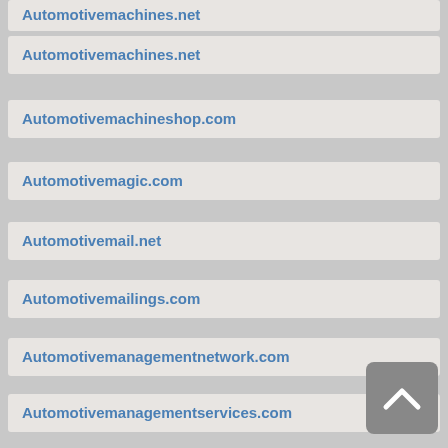Automotivemachines.net
Automotivemachineshop.com
Automotivemagic.com
Automotivemail.net
Automotivemailings.com
Automotivemanagementnetwork.com
Automotivemanagementservices.com
Automotivemania.blogspot.com
Automotivemanuals.info
Automotivemanufacturingsolutions.com